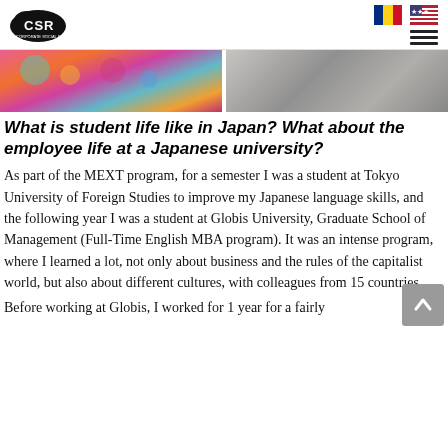CSR logo with Romanian and US flags and hamburger menu
[Figure (photo): Two cropped photos side-by-side: left shows colorful traditional Japanese clothing/fabric in pink and turquoise tones; right shows a grey stone or pavement surface texture.]
What is student life like in Japan? What about the employee life at a Japanese university?
As part of the MEXT program, for a semester I was a student at Tokyo University of Foreign Studies to improve my Japanese language skills, and the following year I was a student at Globis University, Graduate School of Management (Full-Time English MBA program). It was an intense program, where I learned a lot, not only about business and the rules of the capitalist world, but also about different cultures, with colleagues from 15 countries
Before working at Globis, I worked for 1 year for a fairly